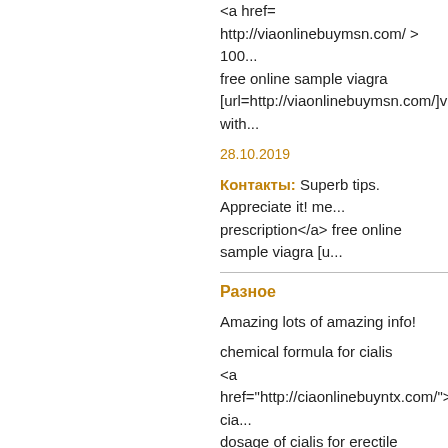<a href= http://viaonlinebuymsn.com/ > 100... free online sample viagra [url=http://viaonlinebuymsn.com/]viagra with...
28.10.2019
Контакты: Superb tips. Appreciate it! me... prescription</a> free online sample viagra [u...
Разное
Amazing lots of amazing info!
chemical formula for cialis
<a href="http://ciaonlinebuyntx.com/">buy cia...
dosage of cialis for erectile dysfunction
[url=http://ciaonlinebuyntx.com/]cialis[/url]
28.10.2019
Контакты: Amazing lots of amazing info! c... cialis for erectile dysfunction [url=http://ciaon...
Разное
This is nicely put. !
<a href="https://www.canadianonlinepharm...
prescription drugs prices - http://canadianph...